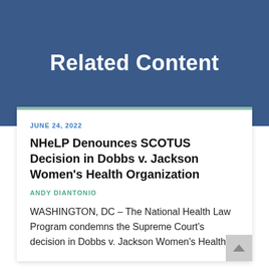Related Content
JUNE 24, 2022
NHeLP Denounces SCOTUS Decision in Dobbs v. Jackson Women’s Health Organization
ANDY DIANTONIO
WASHINGTON, DC – The National Health Law Program condemns the Supreme Court’s decision in Dobbs v. Jackson Women’s Health...